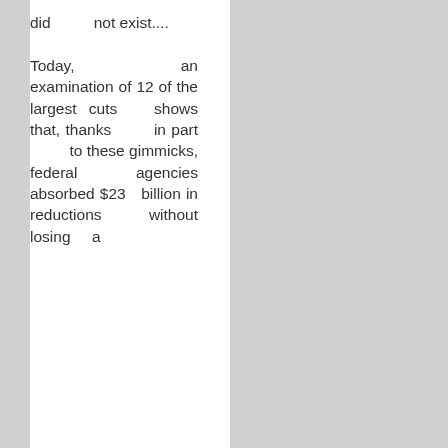did not exist.... Today, an examination of 12 of the largest cuts shows that, thanks in part to these gimmicks, federal agencies absorbed $23 billion in reductions without losing a